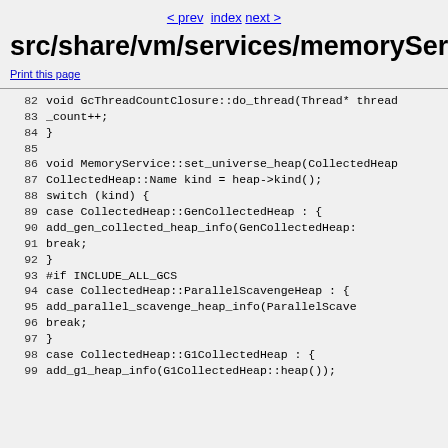< prev  index  next >
src/share/vm/services/memoryService.cpp
Print this page
82  void GcThreadCountClosure::do_thread(Thread* thread
83    _count++;
84  }
85
86  void MemoryService::set_universe_heap(CollectedHeap
87    CollectedHeap::Name kind = heap->kind();
88    switch (kind) {
89      case CollectedHeap::GenCollectedHeap : {
90        add_gen_collected_heap_info(GenCollectedHeap:
91        break;
92    }
93  #if INCLUDE_ALL_GCS
94      case CollectedHeap::ParallelScavengeHeap : {
95        add_parallel_scavenge_heap_info(ParallelScave
96        break;
97    }
98      case CollectedHeap::G1CollectedHeap : {
99        add_g1_heap_info(G1CollectedHeap::heap());